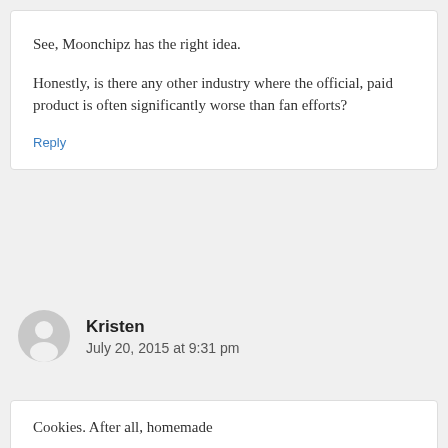See, Moonchipz has the right idea.

Honestly, is there any other industry where the official, paid product is often significantly worse than fan efforts?
Reply
Kristen
July 20, 2015 at 9:31 pm
Cookies. After all, homemade